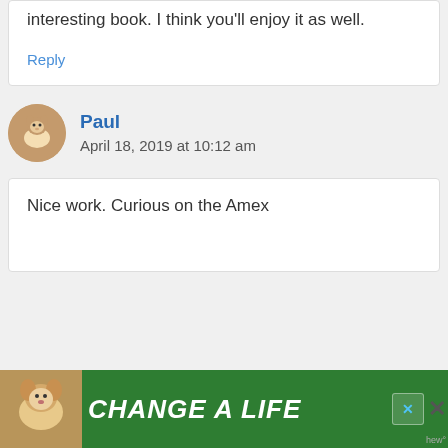interesting book. I think you'll enjoy it as well.
Reply
Paul
April 18, 2019 at 10:12 am
Nice work. Curious on the Amex
[Figure (other): Advertisement banner with dog image and text 'CHANGE A LIFE' on green background with close button]